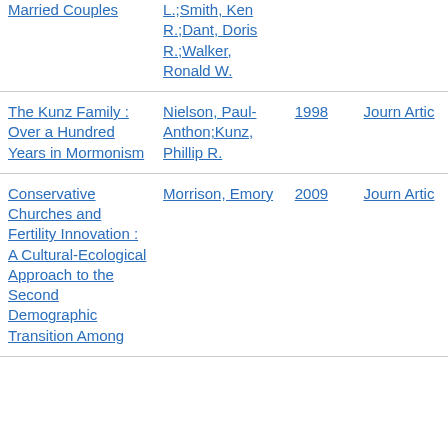| Title | Author | Year | Type |
| --- | --- | --- | --- |
| Married Couples | L.;Smith, Ken R.;Dant, Doris R.;Walker, Ronald W. |  |  |
| The Kunz Family : Over a Hundred Years in Mormonism | Nielson, Paul-Anthon;Kunz, Phillip R. | 1998 | Journ Artic |
| Conservative Churches and Fertility Innovation : A Cultural-Ecological Approach to the Second Demographic Transition Among | Morrison, Emory | 2009 | Journ Artic |